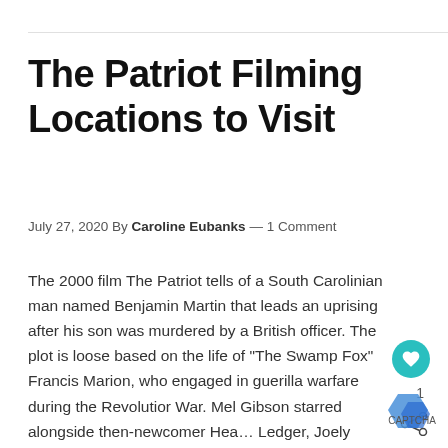The Patriot Filming Locations to Visit
July 27, 2020 By Caroline Eubanks — 1 Comment
The 2000 film The Patriot tells of a South Carolinian man named Benjamin Martin that leads an uprising after his son was murdered by a British officer. The plot is loosely based on the life of "The Swamp Fox" Francis Marion, who engaged in guerilla warfare during the Revolutionary War. Mel Gibson starred alongside then-newcomer Heath Ledger, Joely Richardson, Jason Isaacs, … [Read more]